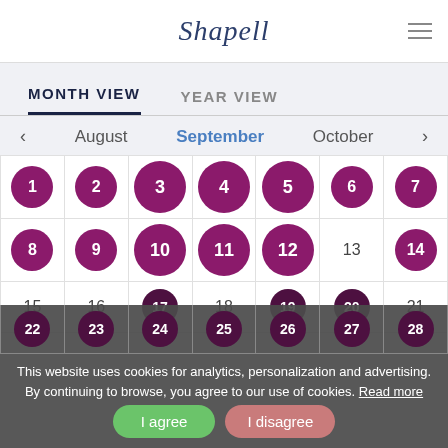Shapell
MONTH VIEW  YEAR VIEW
< August   September   October >
[Figure (other): September calendar grid showing dates 1-28 with purple circles for event days and plain text for non-event days. Days 1-12, 14-17, 19-20, 22-28 have purple circles. Day 13 and 18 are plain.]
This website uses cookies for analytics, personalization and advertising. By continuing to browse, you agree to our use of cookies. Read more
I agree  I disagree